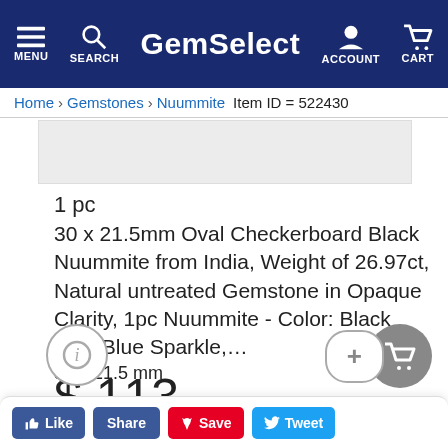GemSelect — MENU SEARCH ACCOUNT CART
Home > Gemstones > Nuummite   Item ID = 522430
[Figure (photo): Product image of Nuummite gemstone (placeholder gray area)]
1 pc
30 x 21.5mm Oval Checkerboard Black Nuummite from India, Weight of 26.97ct, Natural untreated Gemstone in Opaque Clarity, 1pc Nuummite - Color: Black With Blue Sparkle,...
27ct
30 x 21.5 mm
$ 113 33
Like  Share  Save  Tweet